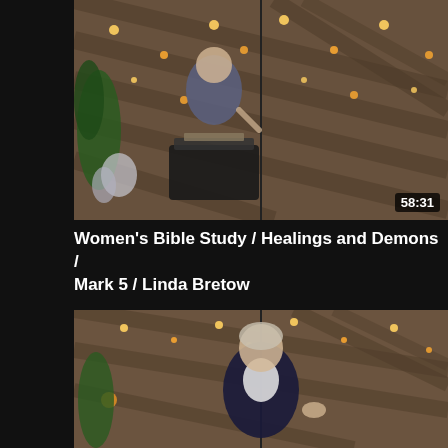[Figure (screenshot): Video thumbnail showing a woman speaking at a podium in a wood-paneled room with string lights. Duration badge shows 58:31.]
Women's Bible Study / Healings and Demons / Mark 5 / Linda Bretow
[Figure (screenshot): Second video thumbnail showing a woman in a dark blazer and white shirt, gesturing with her hand, in a similar wood-paneled room with string lights.]